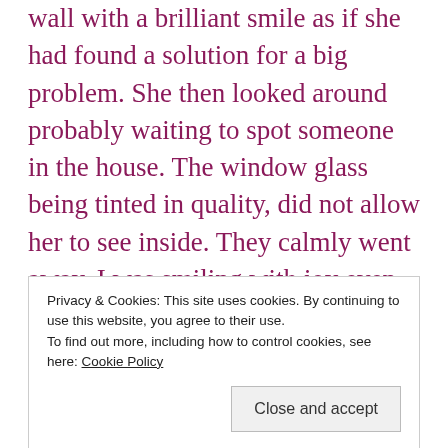wall with a brilliant smile as if she had found a solution for a big problem. She then looked around probably waiting to spot someone in the house. The window glass being tinted in quality, did not allow her to see inside. They calmly went away. I was smiling with joy even when my pretty rose was harshly plucked by the girl! I went out and collected the chocolates she had left as her token of apologies. Children grow up following the
Privacy & Cookies: This site uses cookies. By continuing to use this website, you agree to their use.
To find out more, including how to control cookies, see here: Cookie Policy
sweet little way of saying sorry! 🙂